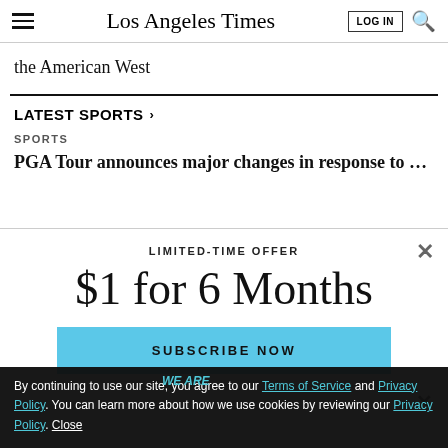Los Angeles Times
the American West
LATEST SPORTS >
SPORTS
PGA Tour announces major changes in response to rival LIV
LIMITED-TIME OFFER
$1 for 6 Months
SUBSCRIBE NOW
By continuing to use our site, you agree to our Terms of Service and Privacy Policy. You can learn more about how we use cookies by reviewing our Privacy Policy. Close